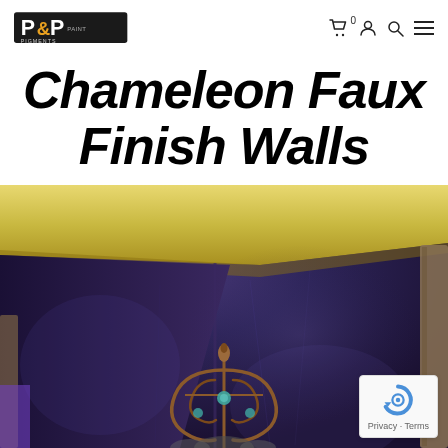P&P Pigments — navigation bar with logo, cart, account, search, and menu icons
Chameleon Faux Finish Walls
[Figure (photo): Interior room corner showing walls painted with a chameleon faux finish in deep purple/blue tones with shimmering effect. Yellow crown molding at the top. A decorative wrought iron headboard or wall piece is visible in the lower center, flanked by partial mirror frames on either side.]
Privacy · Terms